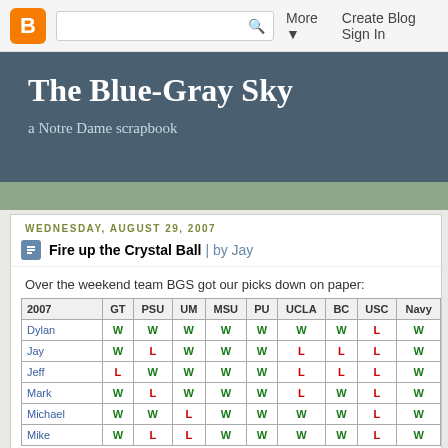B  [search]  More ▼  Create Blog  Sign In
The Blue-Gray Sky
a Notre Dame scrapbook
WEDNESDAY, AUGUST 29, 2007
Fire up the Crystal Ball | by Jay
Over the weekend team BGS got our picks down on paper:
| 2007 | GT | PSU | UM | MSU | PU | UCLA | BC | USC | Navy |
| --- | --- | --- | --- | --- | --- | --- | --- | --- | --- |
| Dylan | W | W | W | W | W | W | W | L | W |
| Jay | W | L | W | W | W | L | L | L | W |
| Jeff | L | W | W | W | W | L | L | L | W |
| Mark | W | L | W | W | W | L | W | L | W |
| Michael | W | W | L | W | W | W | W | L | W |
| Mike | W | L | L | W | W | W | W | L | W |